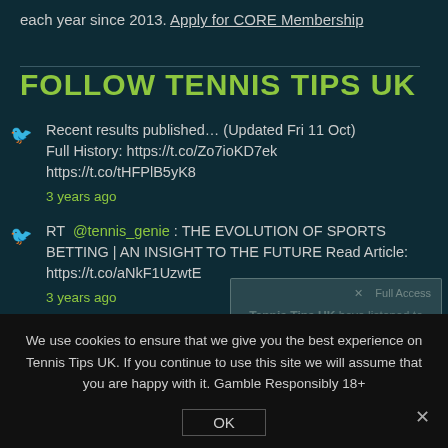each year since 2013. Apply for CORE Membership
FOLLOW TENNIS TIPS UK
Recent results published… (Updated Fri 11 Oct) Full History: https://t.co/Zo7ioKD7ek https://t.co/tHFPlB5yK8
3 years ago
RT @tennis_genie : THE EVOLUTION OF SPORTS BETTING | AN INSIGHT TO THE FUTURE Read Article: https://t.co/aNkF1UzwtE
3 years ago
[Figure (screenshot): Partially visible modal overlay with Tennis Tips UK membership/access text and 'How to Get Started?' link]
We use cookies to ensure that we give you the best experience on Tennis Tips UK. If you continue to use this site we will assume that you are happy with it. Gamble Responsibly 18+
OK